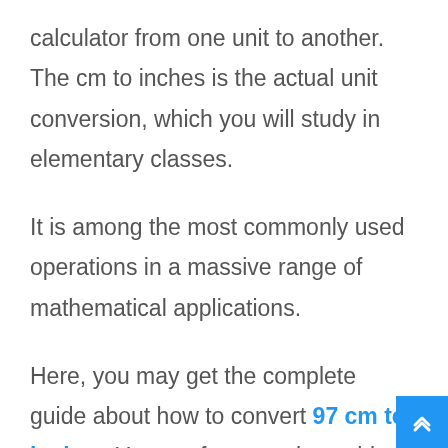calculator from one unit to another. The cm to inches is the actual unit conversion, which you will study in elementary classes.
It is among the most commonly used operations in a massive range of mathematical applications.
Here, you may get the complete guide about how to convert 97 cm to inches. You are free to ask anything about the 97 cm equals how